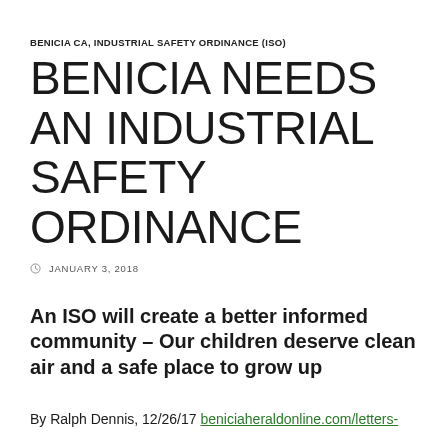BENICIA CA, INDUSTRIAL SAFETY ORDINANCE (ISO)
BENICIA NEEDS AN INDUSTRIAL SAFETY ORDINANCE
JANUARY 3, 2018
An ISO will create a better informed community – Our children deserve clean air and a safe place to grow up
By Ralph Dennis, 12/26/17 beniciaheraldonline.com/letters-